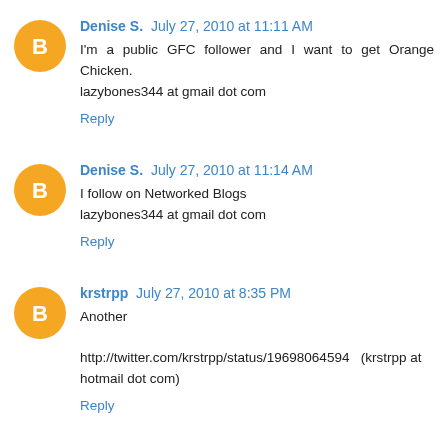Denise S. July 27, 2010 at 11:11 AM
I'm a public GFC follower and I want to get Orange Chicken.
lazybones344 at gmail dot com
Reply
Denise S. July 27, 2010 at 11:14 AM
I follow on Networked Blogs
lazybones344 at gmail dot com
Reply
krstrpp July 27, 2010 at 8:35 PM
Another tweet: http://twitter.com/krstrpp/status/19698064594 (krstrpp at hotmail dot com)
Reply